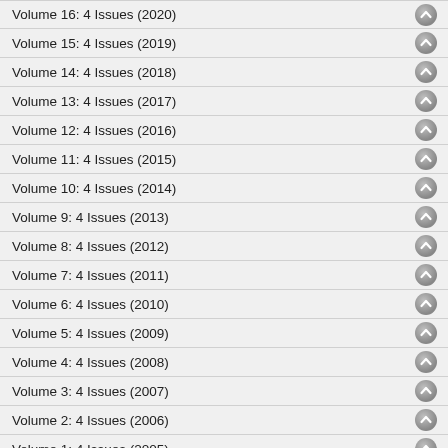Volume 16: 4 Issues (2020)
Volume 15: 4 Issues (2019)
Volume 14: 4 Issues (2018)
Volume 13: 4 Issues (2017)
Volume 12: 4 Issues (2016)
Volume 11: 4 Issues (2015)
Volume 10: 4 Issues (2014)
Volume 9: 4 Issues (2013)
Volume 8: 4 Issues (2012)
Volume 7: 4 Issues (2011)
Volume 6: 4 Issues (2010)
Volume 5: 4 Issues (2009)
Volume 4: 4 Issues (2008)
Volume 3: 4 Issues (2007)
Volume 2: 4 Issues (2006)
Volume 1: 4 Issues (2005)